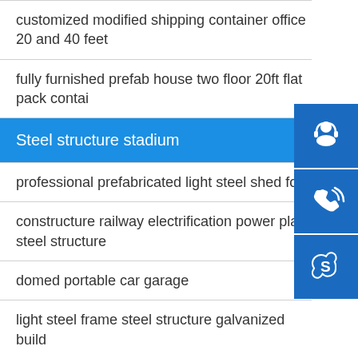customized modified shipping container office 20 and 40 feet
fully furnished prefab house two floor 20ft flat pack contai
Steel structure stadium
professional prefabricated light steel shed for
constructure railway electrification power plant steel structure
domed portable car garage
light steel frame steel structure galvanized build
[Figure (illustration): Three blue square icon buttons on the right side: a customer service headset/person icon, a phone icon, and a Skype icon.]